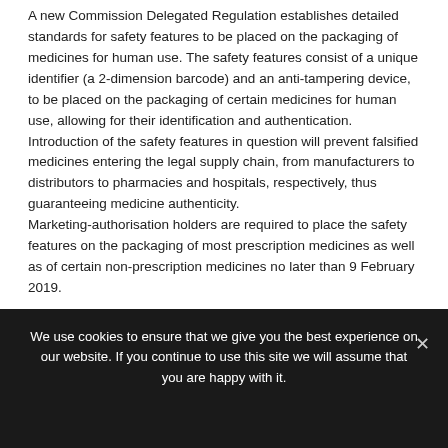A new Commission Delegated Regulation establishes detailed standards for safety features to be placed on the packaging of medicines for human use. The safety features consist of a unique identifier (a 2-dimension barcode) and an anti-tampering device, to be placed on the packaging of certain medicines for human use, allowing for their identification and authentication. Introduction of the safety features in question will prevent falsified medicines entering the legal supply chain, from manufacturers to distributors to pharmacies and hospitals, respectively, thus guaranteeing medicine authenticity. Marketing-authorisation holders are required to place the safety features on the packaging of most prescription medicines as well as of certain non-prescription medicines no later than 9 February 2019.
We use cookies to ensure that we give you the best experience on our website. If you continue to use this site we will assume that you are happy with it.